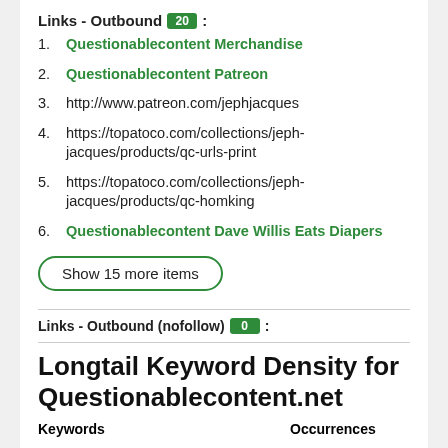Links - Outbound 20:
1. Questionablecontent Merchandise
2. Questionablecontent Patreon
3. http://www.patreon.com/jephjacques
4. https://topatoco.com/collections/jeph-jacques/products/qc-urls-print
5. https://topatoco.com/collections/jeph-jacques/products/qc-homking
6. Questionablecontent Dave Willis Eats Diapers
Show 15 more items
Links - Outbound (nofollow) 0:
Longtail Keyword Density for Questionablecontent.net
| Keywords | Occurrences |
| --- | --- |